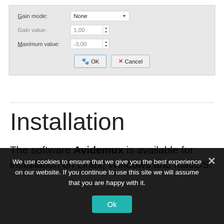[Figure (screenshot): A dialog box screenshot showing fields: Gain mode (set to None with dropdown), Gain value (set to 1,00 with spinner), Maximum value (set to -3,00 with spinner), and two buttons: OK and Cancel.]
Installation
The software Avidemux is available for installation on Linux, Windows and macOS.
We use cookies to ensure that we give you the best experience on our website. If you continue to use this site we will assume that you are happy with it.